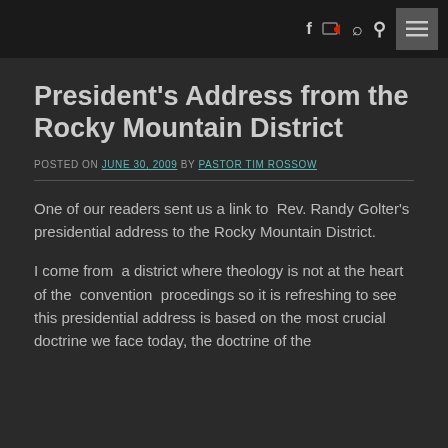f [icon] Q [menu icon]
President's Address from the Rocky Mountain District
POSTED ON JUNE 30, 2009 BY PASTOR TIM ROSSOW
One of our readers sent us a link to Rev. Randy Golter's presidential address to the Rocky Mountain District.
I come from a district where theology is not at the heart of the convention procedings so it is refreshing to see this presidential address is based on the most crucial doctrine we face today, the doctrine of the